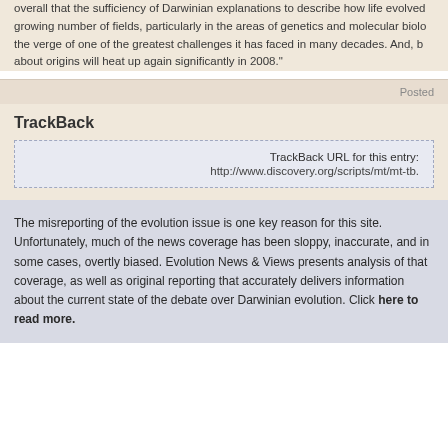overall that the sufficiency of Darwinian explanations to describe how life evolved growing number of fields, particularly in the areas of genetics and molecular biolo the verge of one of the greatest challenges it has faced in many decades. And, b about origins will heat up again significantly in 2008."
Posted
TrackBack
TrackBack URL for this entry: http://www.discovery.org/scripts/mt/mt-tb.
The misreporting of the evolution issue is one key reason for this site. Unfortunately, much of the news coverage has been sloppy, inaccurate, and in some cases, overtly biased. Evolution News & Views presents analysis of that coverage, as well as original reporting that accurately delivers information about the current state of the debate over Darwinian evolution. Click here to read more.